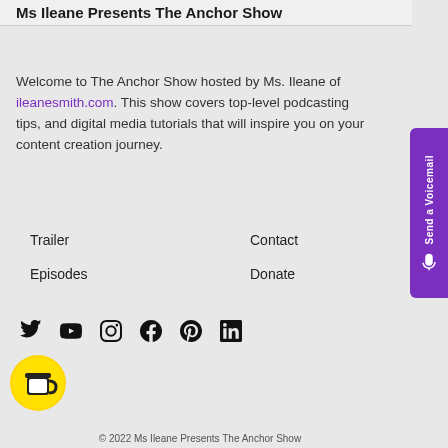Ms Ileane Presents The Anchor Show
Welcome to The Anchor Show hosted by Ms. Ileane of ileanesmith.com. This show covers top-level podcasting tips, and digital media tutorials that will inspire you on your content creation journey.
Trailer
Episodes
Contact
Donate
[Figure (infographic): Social media icons row: Twitter, YouTube, Instagram, Facebook, Pinterest, LinkedIn]
[Figure (illustration): Yellow circle Buy Me a Coffee button with coffee cup icon]
[Figure (infographic): Purple vertical Send a Voicemail tab on right side with microphone icon]
© 2022 Ms Ileane Presents The Anchor Show